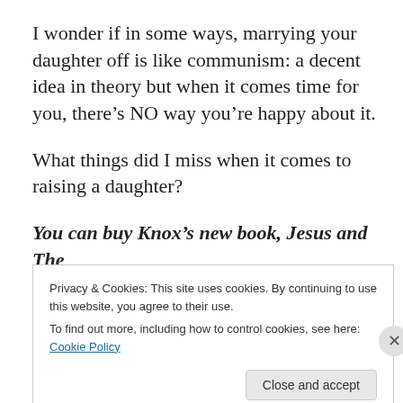I wonder if in some ways, marrying your daughter off is like communism: a decent idea in theory but when it comes time for you, there’s NO way you’re happy about it.
What things did I miss when it comes to raising a daughter?
You can buy Knox’s new book, Jesus and The
Privacy & Cookies: This site uses cookies. By continuing to use this website, you agree to their use.
To find out more, including how to control cookies, see here: Cookie Policy